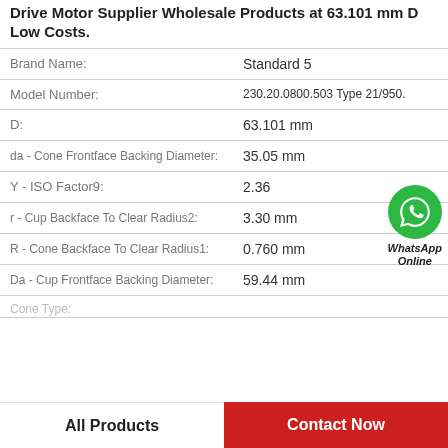Drive Motor Supplier Wholesale Products at 63.101 mm D Low Costs.
| Property | Value |
| --- | --- |
| Brand Name: | Standard 5 |
| Model Number: | 230.20.0800.503 Type 21/950. |
| D: | 63.101 mm |
| da - Cone Frontface Backing Diameter: | 35.05 mm |
| Y - ISO Factor9: | 2.36 |
| r - Cup Backface To Clear Radius2: | 3.30 mm |
| R - Cone Backface To Clear Radius1: | 0.760 mm |
| Da - Cup Frontface Backing Diameter: | 59.44 mm |
| Cone Type: | (partial) |
[Figure (logo): WhatsApp Online green phone icon with label 'WhatsApp Online']
All Products
Contact Now